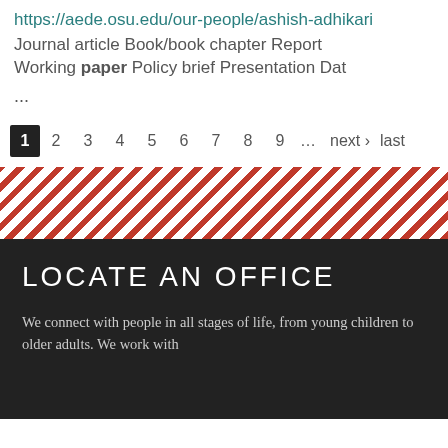https://aede.osu.edu/our-people/ashish-adhikari
Journal article Book/book chapter Report Working paper Policy brief Presentation Dat...
...
1 2 3 4 5 6 7 8 9 … next › last
[Figure (other): Diagonal red and white striped decorative divider band]
LOCATE AN OFFICE
We connect with people in all stages of life, from young children to older adults. We work with